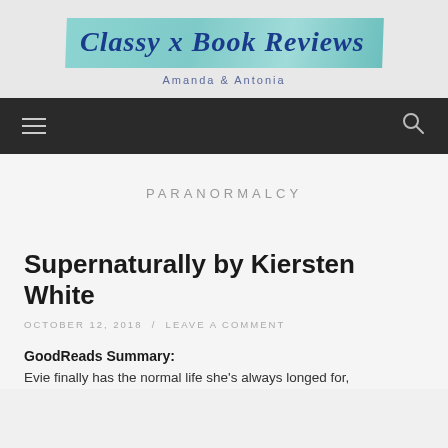[Figure (logo): Classy x Book Reviews logo with teal brush stroke background and cursive text, with subtitle 'Amanda & Antonia']
Navigation bar with hamburger menu icon and search icon
PARANORMALCY
Supernaturally by Kiersten White
OCTOBER 12, 2018 / LEAVE A COMMENT
GoodReads Summary:
Evie finally has the normal life she's always longed for,